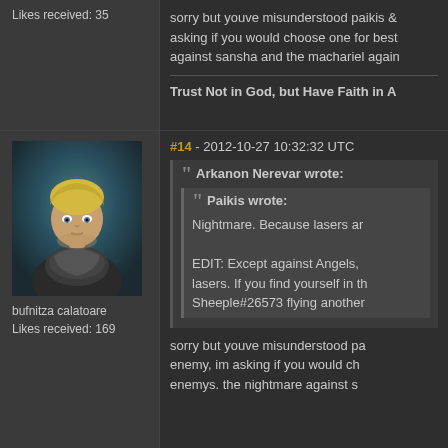Likes received: 35
sorry but youve misunderstood paikis & asking if you would choose one for best against sansha and the machariel again
Trust Not in God, but Have Faith in A
#14 - 2012-10-27 10:32:32 UTC
[Figure (photo): Avatar of user bufnitza calatoare, a female character with short blonde hair and dark clothing against a teal background]
bufnitza calatoare
Likes received: 169
Arkanon Nerevar wrote:
Paikis wrote:
Nightmare. Because lasers ar
EDIT: Except against Angels, lasers. If you find yourself in th Sheeple#26573 flying another
sorry but youve misunderstood pa enemy, im asking if you would ch enemys. the nightmare against s